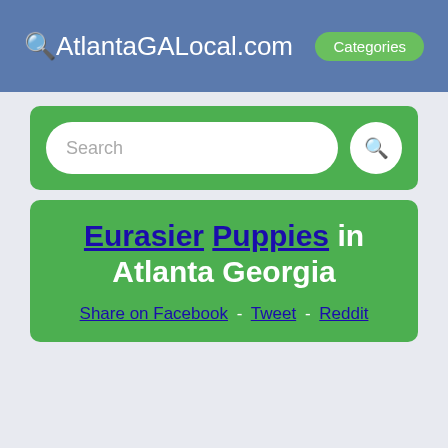🔍AtlantaGALocal.com  Categories
[Figure (screenshot): Search bar with white rounded input field and search button on green background]
Eurasier Puppies in Atlanta Georgia
Share on Facebook - Tweet - Reddit